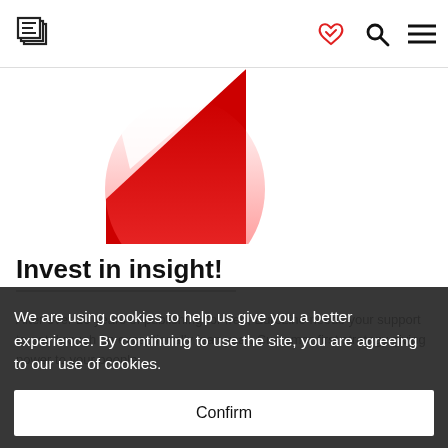Eurozine logo and navigation icons
[Figure (illustration): Abstract red gradient shape on white background — a triangular red blob/gradient in the lower-left of a white rectangle]
Invest in insight!
After over 20 years of publishing for free, Eurozine needs your support to get through an exceptionally lean year. Customer-first strategy giving power to your people.
We are using cookies to help us give you a better experience. By continuing to use the site, you are agreeing to our use of cookies.
Confirm